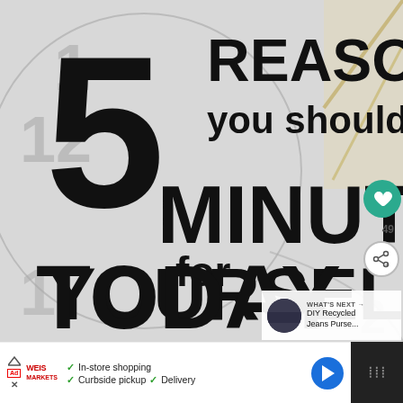[Figure (infographic): Motivational infographic with clock background showing text: '5 REASONS you should take MINUTES for YOURSELF TODAY'. Right side has heart/like button with count 49, share button. Bottom right shows 'WHAT'S NEXT → DIY Recycled Jeans Purse...' panel.]
[Figure (infographic): Advertisement bar at bottom: ad icon, Weis Markets brand logo, checkmarks for 'In-store shopping', 'Curbside pickup', 'Delivery', blue navigation arrow logo, dark panel with audio icon on far right.]